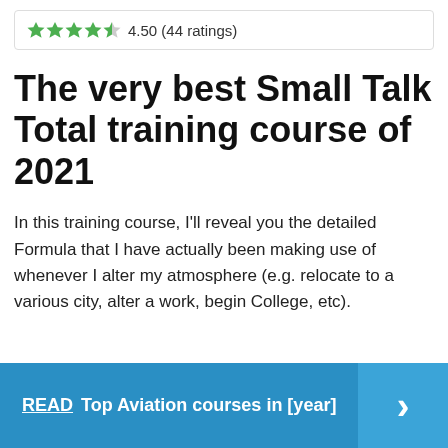[Figure (other): Star rating widget showing 4.5 out of 5 stars (4 filled green stars, 1 half-filled star, 1 empty star) with text '4.50 (44 ratings)']
The very best Small Talk Total training course of 2021
In this training course, I'll reveal you the detailed Formula that I have actually been making use of whenever I alter my atmosphere (e.g. relocate to a various city, alter a work, begin College, etc).
READ  Top Aviation courses in [year]  ›